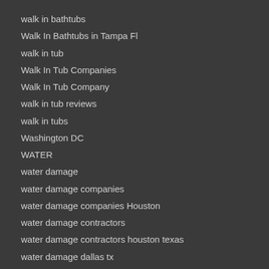walk in bathtubs
Walk In Bathtubs in Tampa Fl
walk in tub
Walk In Tub Companies
Walk In Tub Company
walk in tub reviews
walk in tubs
Washington DC
WATER
water damage
water damage companies
water damage companies Houston
water damage contractors
water damage contractors houston texas
water damage dallas tx
water damage Fort Myers
water damage Houston